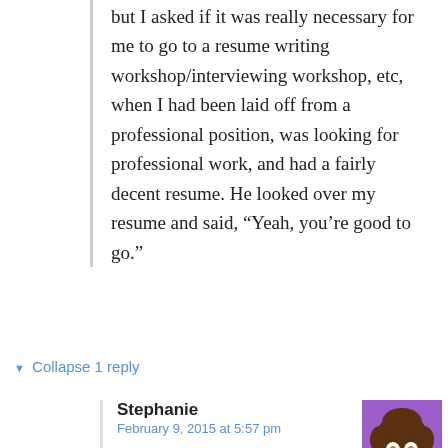but I asked if it was really necessary for me to go to a resume writing workshop/interviewing workshop, etc, when I had been laid off from a professional position, was looking for professional work, and had a fairly decent resume. He looked over my resume and said, “Yeah, you’re good to go.”
▼ Collapse 1 reply
Stephanie
February 9, 2015 at 5:57 pm
[Figure (photo): Avatar image of a Muppet character with brown afro hair on purple background]
Ha, that was exactly my experience as well.

Employment Counselor: “Wow, this resume looks really good. Did we teach you to write this?”
Me: “No, I just put that together myself.”
Employment Counselor: “Well, you shouldn’t have any problems landing anything with this! You don’t